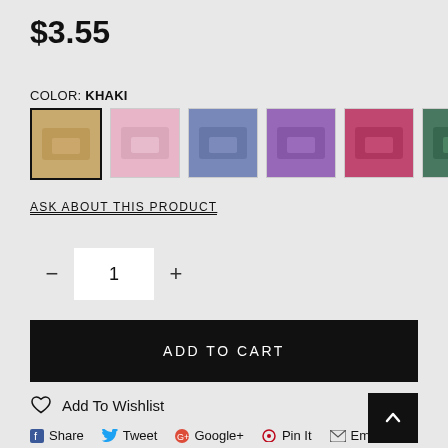$3.55
COLOR: KHAKI
[Figure (photo): Six color swatch thumbnail images of a wallet product: khaki (selected/highlighted), pink, blue/navy, purple, red/pink, dark green]
ASK ABOUT THIS PRODUCT
- 1 +
ADD TO CART
Add To Wishlist
Share  Tweet  Google+  Pin It  Email
ESTIMATED DELIVERY BETWEEN Tue, Sep 13 and Fri, Sep 23